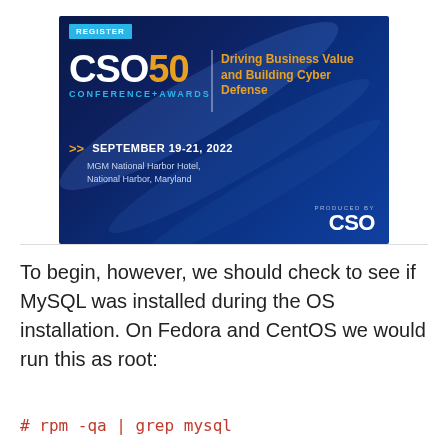[Figure (infographic): CSO50 Conference+Awards advertisement banner. Dark navy blue background with light sweep effects. Shows 'REGISTER' button in cyan, 'CSO50 CONFERENCE+AWARDS' logo in white/orange/cyan, tagline 'Driving Business Value and Building Cyber Defense' in orange, event date 'SEPTEMBER 19-21, 2022' in white with orange chevrons, venue 'MGM National Harbor Hotel, National Harbor, Maryland' in light blue, and 'PRODUCED BY CSO' logo in bottom right.]
To begin, however, we should check to see if MySQL was installed during the OS installation. On Fedora and CentOS we would run this as root:
# rpm -qa | grep mysql